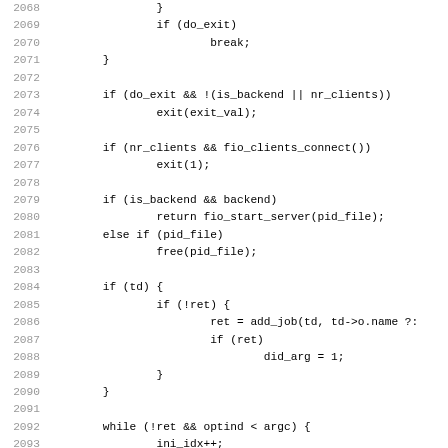Code listing lines 2068–2099, C source code showing control flow with do_exit, fio_clients_connect, fio_start_server, add_job, and while loop with ini_file handling.